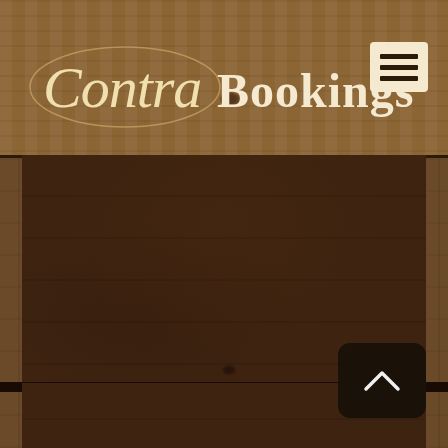[Figure (screenshot): Mobile website screenshot of 'Contra Bookings' app. Features a rustic wood-textured background with a light wood grain header panel. The header contains the 'Contra Bookings' logo in cream/ivory italic and bold serif font on the left, and a hamburger menu icon (three horizontal lines) in a cream rounded box on the right. The main content area shows two dark brown wood-grain panels separated by a thin dark gap. A dark rounded square button with an upward chevron (scroll-to-top) is visible in the lower-right area of the lower panel.]